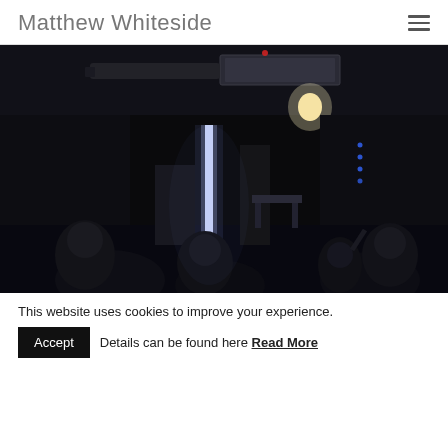Matthew Whiteside
[Figure (photo): Dark concert venue photo showing a stage with bright white LED lighting strip, audience silhouettes in foreground, ceiling HVAC unit visible, various stage equipment and performers in background]
This website uses cookies to improve your experience.
Accept   Details can be found here Read More